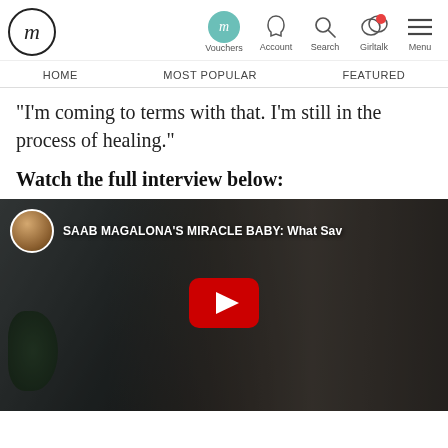Femalenetwork logo, Vouchers, Account, Search, Girltalk, Menu | HOME | MOST POPULAR | FEATURED
"I'm coming to terms with that. I'm still in the process of healing."
Watch the full interview below:
[Figure (screenshot): YouTube video thumbnail showing 'SAAB MAGALONA'S MIRACLE BABY: What Sav...' with three women and a YouTube play button]